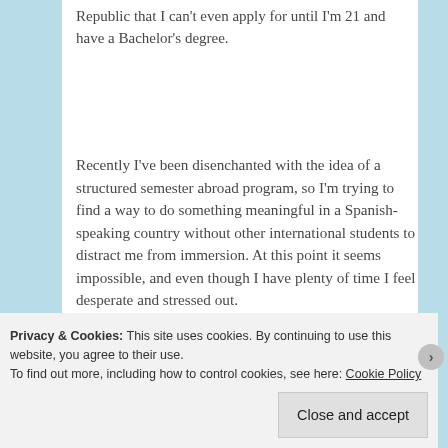Republic that I can't even apply for until I'm 21 and have a Bachelor's degree.
Recently I've been disenchanted with the idea of a structured semester abroad program, so I'm trying to find a way to do something meaningful in a Spanish-speaking country without other international students to distract me from immersion. At this point it seems impossible, and even though I have plenty of time I feel desperate and stressed out.
Privacy & Cookies: This site uses cookies. By continuing to use this website, you agree to their use.
To find out more, including how to control cookies, see here: Cookie Policy